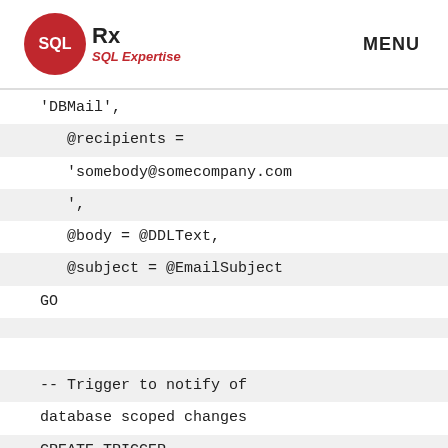SQL Rx – SQL Expertise | MENU
'DBMail',
    @recipients = 'somebody@somecompany.com
    ',
    @body = @DDLText,
    @subject = @EmailSubject
GO

-- Trigger to notify of database scoped changes
CREATE TRIGGER
[ddl_trig_alter_db_scoped